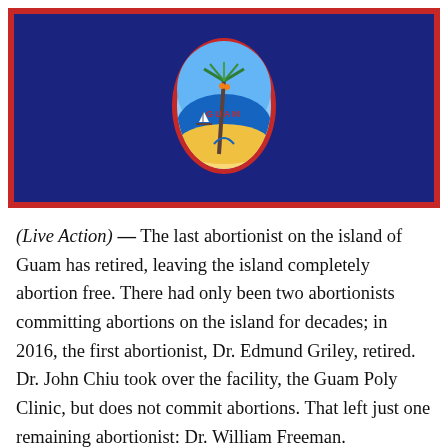[Figure (illustration): Flag of Guam — dark navy blue rectangle with a narrow red border. In the center is the Guam seal: a red-outlined almond/vesica shape containing a light blue background with a sandy shore, ocean, a coconut palm tree, a traditional Chamorro sling stone (proa sailboat on water), and the word 'GUAM' in red letters.]
(Live Action) — The last abortionist on the island of Guam has retired, leaving the island completely abortion free. There had only been two abortionists committing abortions on the island for decades; in 2016, the first abortionist, Dr. Edmund Griley, retired. Dr. John Chiu took over the facility, the Guam Poly Clinic, but does not commit abortions. That left just one remaining abortionist: Dr. William Freeman.